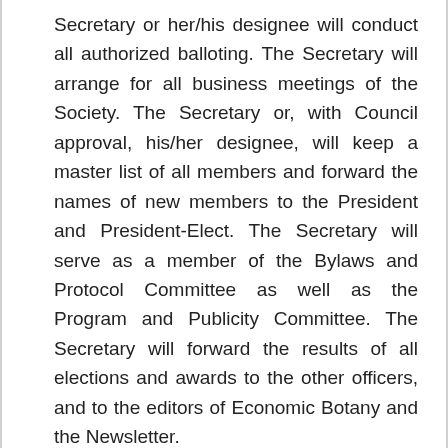Secretary or her/his designee will conduct all authorized balloting. The Secretary will arrange for all business meetings of the Society. The Secretary or, with Council approval, his/her designee, will keep a master list of all members and forward the names of new members to the President and President-Elect. The Secretary will serve as a member of the Bylaws and Protocol Committee as well as the Program and Publicity Committee. The Secretary will forward the results of all elections and awards to the other officers, and to the editors of Economic Botany and the Newsletter.
5. Treasurer. The Treasurer is the chief fiscal